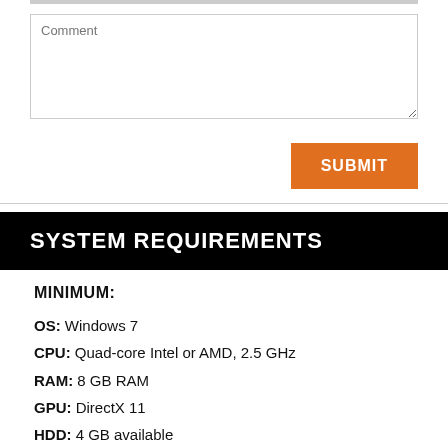Comment (placeholder text in input box)
SUBMIT
SYSTEM REQUIREMENTS
MINIMUM:
OS: Windows 7
CPU: Quad-core Intel or AMD, 2.5 GHz
RAM: 8 GB RAM
GPU: DirectX 11
HDD: 4 GB available